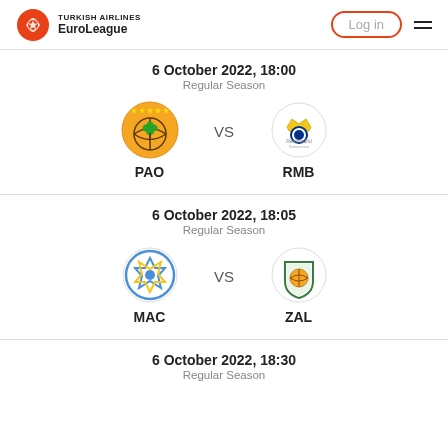TURKISH AIRLINES EuroLeague | Log in
6 October 2022, 18:00
Regular Season
PAO vs RMB
6 October 2022, 18:05
Regular Season
MAC vs ZAL
6 October 2022, 18:30
Regular Season